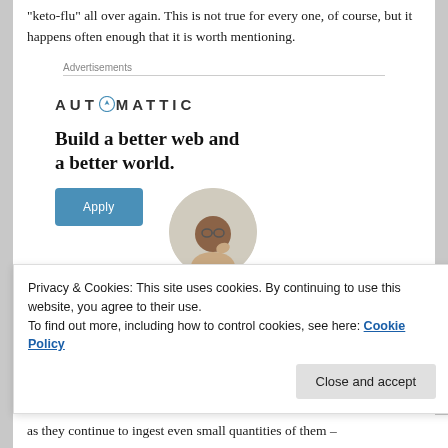"keto-flu" all over again. This is not true for every one, of course, but it happens often enough that it is worth mentioning.
Advertisements
[Figure (logo): Automattic logo with compass icon, followed by bold ad text 'Build a better web and a better world.' with an Apply button and a circular portrait photo of a man]
Privacy & Cookies: This site uses cookies. By continuing to use this website, you agree to their use.
To find out more, including how to control cookies, see here: Cookie Policy
as they continue to ingest even small quantities of them –